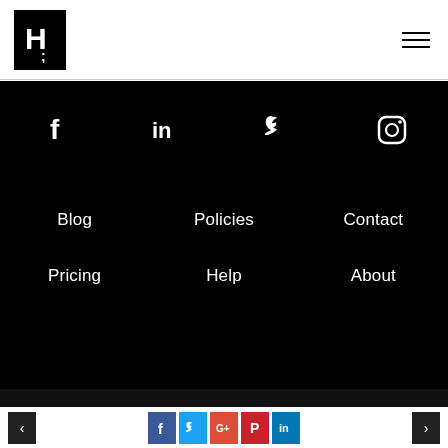[Figure (logo): Black square logo with white H and semicolon mark (Amplifii-style logo)]
[Figure (illustration): Hamburger menu icon (three horizontal lines) in top right corner]
[Figure (illustration): Social media icons row: Facebook (f), LinkedIn (in), Twitter bird, Instagram camera outline — white icons on black background]
Blog
Policies
Contact
Pricing
Help
About
[Figure (illustration): Bottom navigation bar with left arrow button, row of social share icons (Facebook blue, Twitter cyan, Google+ red, Pinterest red, LinkedIn blue), and right arrow button]